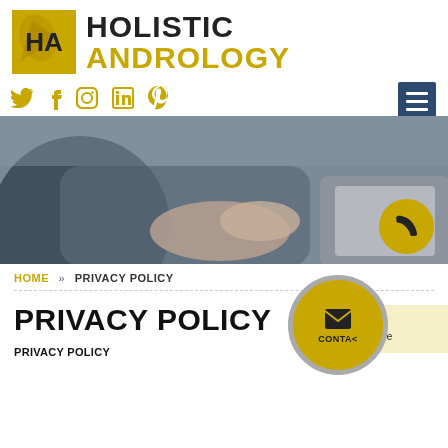[Figure (logo): Holistic Andrology logo with golden leaf/HA square emblem and bold text HOLISTIC ANDROLOGY]
[Figure (illustration): Social media icons: Twitter, Facebook, Instagram, LinkedIn, Pinterest in gold color, with a hamburger menu button on the right]
[Figure (photo): Hero image showing two people sitting across from each other with hands clasped on a table, a tablet visible. A gold phone button appears in the lower right corner.]
HOME » PRIVACY POLICY
PRIVACY POLICY
PRIVACY POLICY
[Figure (illustration): Contact button (gold circle with envelope icon and CONTACT text) partially visible, overlapping with a cookie notice box (light yellow) showing 'We use cookies to enhance your experience']